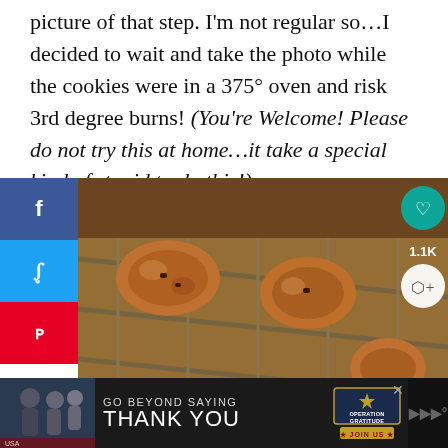picture of that step. I'm not regular so…I decided to wait and take the photo while the cookies were in a 375° oven and risk 3rd degree burns! (You're Welcome! Please do not try this at home…it take a special kind of stupid to do this!)
[Figure (photo): Cookies baking on a rack in the oven, viewed through the oven door. Social media share buttons (Facebook, Twitter, Pinterest) visible on the left sidebar. Heart/save icon (1.1K) and share icon visible on the photo. A 'What's Next' callout in lower right shows Peanut Butter Chocolate... thumbnail.]
[Figure (photo): Advertisement banner at bottom: dark background with people in uniform hugging, text 'GO BEYOND SAYING THANK YOU' with Operation Gratitude logo and 'JOIN US' button.]